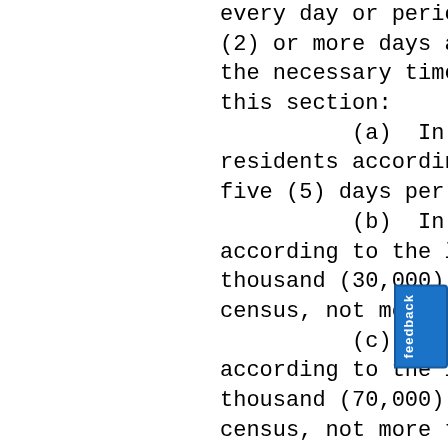every day or period of t(2) or more days actually the necessary time spent this section:
    (a)  In counti residents according to t five (5) days per year;
    (b)  In counti according to the latest thousand (30,000) reside census, not more than i
    (c)  In co according to the late thousand (70,000) resi census, not more than te